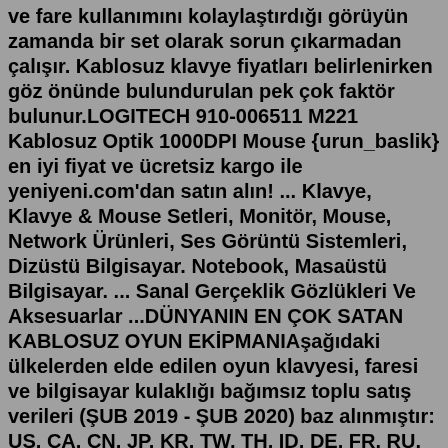ve fare kullanımını kolaylaştırdığı görüyün zamanda bir set olarak sorun çıkarmadan çalışır. Kablosuz klavye fiyatları belirlenirken göz önünde bulundurulan pek çok faktör bulunur.LOGITECH 910-006511 M221 Kablosuz Optik 1000DPI Mouse {urun_baslik} en iyi fiyat ve ücretsiz kargo ile yeniyeni.com'dan satın alın! ... Klavye, Klavye & Mouse Setleri, Monitör, Mouse, Network Ürünleri, Ses Görüntü Sistemleri, Dizüstü Bilgisayar. Notebook, Masaüstü Bilgisayar. ... Sanal Gerçeklik Gözlükleri Ve Aksesuarlar ...DÜNYANIN EN ÇOK SATAN KABLOSUZ OYUN EKİPMANIAşağıdaki ülkelerden elde edilen oyun klavyesi, faresi ve bilgisayar kulaklığı bağımsız toplu satış verileri (ŞUB 2019 - ŞUB 2020) baz alınmıştır: US, CA, CN, JP, KR, TW, TH, ID, DE, FR, RU, UK, SE, TRTEMEL BİLGİLER VE TEKNİK ÖZELLİKLER. 2.4 Ghz kablosuz klavye & 2.4 Ghz kablosuz optik fare. Batarya tipi: 1 x AA Pil (klavye) + 1 x AA Pil (fare) Türkçe Q Klavye Dizilimi. Ergonomik Tasarım Mouse. Multimedya Fonksiyon Tuşları. 10 Metre